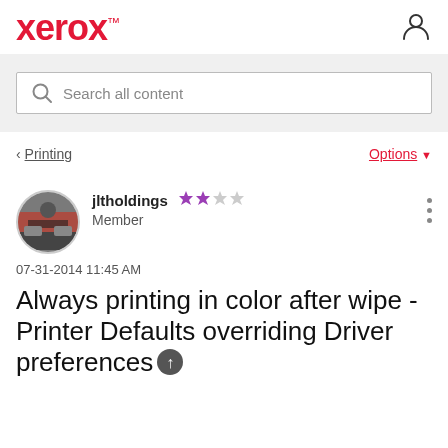xerox™
Search all content
‹ Printing   Options ▾
jltholdings ★★☆☆ Member
07-31-2014 11:45 AM
Always printing in color after wipe - Printer Defaults overriding Driver preferences